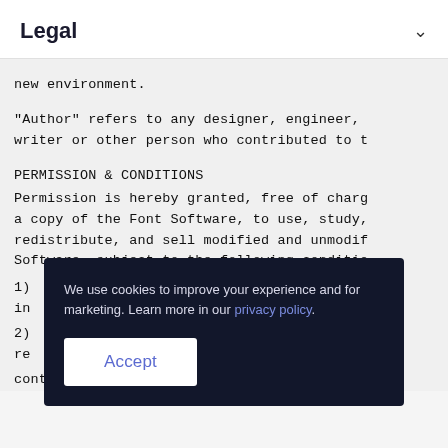Legal ∨
new environment.
"Author" refers to any designer, engineer, writer or other person who contributed to t
PERMISSION & CONDITIONS
Permission is hereby granted, free of charg a copy of the Font Software, to use, study, redistribute, and sell modified and unmodif Software, subject to the following conditio
1) ... its in so
2) ... For re are
contains the above copyright notice and thi
We use cookies to improve your experience and for marketing. Learn more in our privacy policy. [Accept]